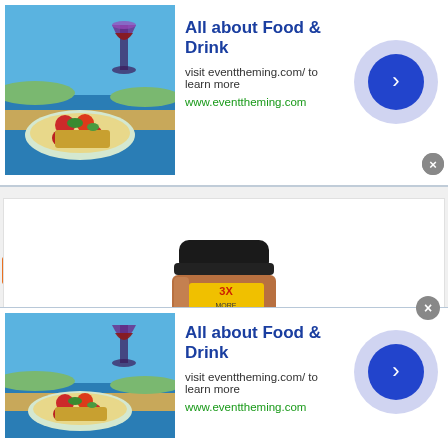[Figure (photo): Advertisement banner: food and drink image on left (wine glass and bruschetta), bold blue title 'All about Food & Drink', subtitle text 'visit eventtheming.com/ to learn more', green link 'www.eventtheming.com', blue arrow button with purple circle on right, close X button.]
All about Food & Drink
visit eventtheming.com/ to learn more
www.eventtheming.com
BESTSELLER NO. 19
[Figure (photo): Product image: McCormick Grill Mates Brown Sugar Bourbon Seasoning large jar (3X MORE label, black lid, brown spice-filled jar with red label showing grilled meat).]
[Figure (photo): Advertisement banner (bottom): same food and drink image on left, bold blue title 'All about Food & Drink', subtitle 'visit eventtheming.com/ to learn more', green link 'www.eventtheming.com', blue arrow button with purple circle on right, X close button at top right.]
All about Food & Drink
visit eventtheming.com/ to learn more
www.eventtheming.com